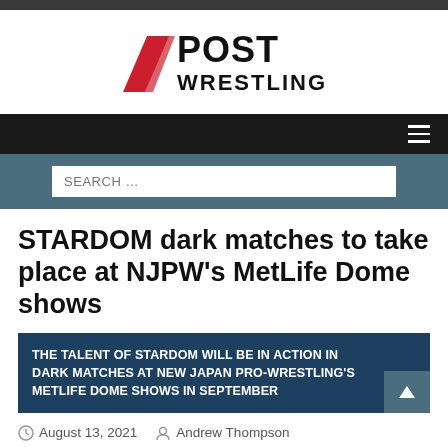[Figure (logo): POST Wrestling logo with red chevron/stripe icon and bold black text]
STARDOM dark matches to take place at NJPW's MetLife Dome shows
THE TALENT OF STARDOM WILL BE IN ACTION IN DARK MATCHES AT NEW JAPAN PRO-WRESTLING'S METLIFE DOME SHOWS IN SEPTEMBER
August 13, 2021   Andrew Thompson